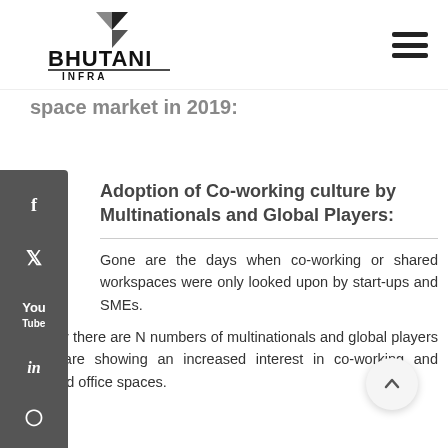[Figure (logo): Bhutani Infra logo with geometric arrow shapes and bold BHUTANI INFRA text]
space market in 2019:
Adoption of Co-working culture by Multinationals and Global Players:
Gone are the days when co-working or shared workspaces were only looked upon by start-ups and SMEs.
Today there are N numbers of multinationals and global players that are showing an increased interest in co-working and shared office spaces.